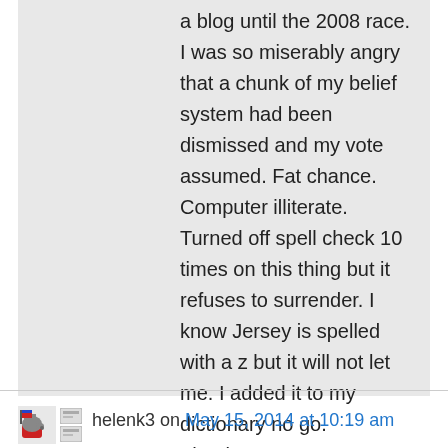a blog until the 2008 race. I was so miserably angry that a chunk of my belief system had been dismissed and my vote assumed. Fat chance. Computer illiterate. Turned off spell check 10 times on this thing but it refuses to surrender. I know Jersey is spelled with a z but it will not let me. I added it to my dictionary no go.
Thank you
helenk3 on May 15, 2014 at 10:19 am